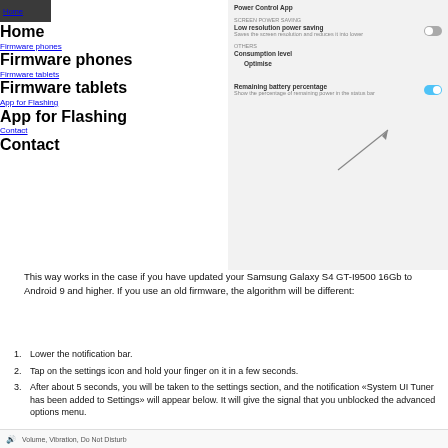Home
Firmware phones
Firmware tablets
App for Flashing
Contact
[Figure (screenshot): Samsung Galaxy S4 settings screen showing Screen Power Saving options with Low resolution power saving toggle and Remaining battery percentage toggle enabled, with an annotation arrow pointing to Remaining battery percentage option.]
This way works in the case if you have updated your Samsung Galaxy S4 GT-I9500 16Gb to Android 9 and higher. If you use an old firmware, the algorithm will be different:
Lower the notification bar.
Tap on the settings icon and hold your finger on it in a few seconds.
After about 5 seconds, you will be taken to the settings section, and the notification «System UI Tuner has been added to Settings» will appear below. It will give the signal that you unblocked the advanced options menu.
Volume, Vibration, Do Not Disturb